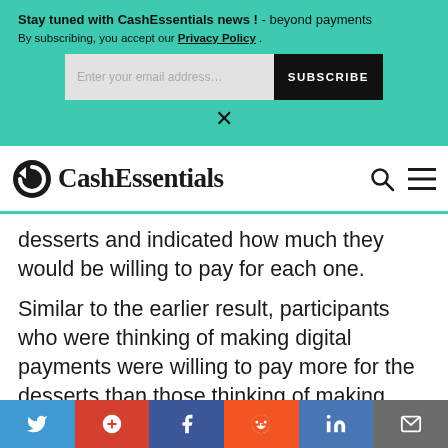Stay tuned with CashEssentials news ! - beyond payments
By subscribing, you accept our Privacy Policy.
[email subscription banner with SUBSCRIBE button and close X]
[Figure (logo): CashEssentials logo with stylized circular arrow icon and site name in serif font, plus search and hamburger menu icons on the right]
desserts and indicated how much they would be willing to pay for each one.
Similar to the earlier result, participants who were thinking of making digital payments were willing to pay more for the desserts than those thinking of making cash payments.
Social sharing bar: Twitter, Google+, Facebook, Reddit, LinkedIn, Email